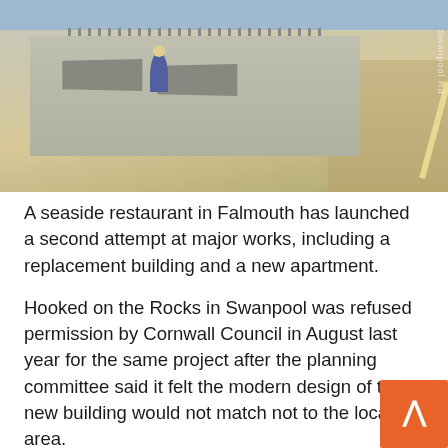[Figure (photo): Outdoor photo of a seaside restaurant area showing picnic benches on a paved terrace, a person sitting, a fence in the background, and a road with double yellow lines visible on the right side. Sunny day.]
A seaside restaurant in Falmouth has launched a second attempt at major works, including a replacement building and a new apartment.
Hooked on the Rocks in Swanpool was refused permission by Cornwall Council in August last year for the same project after the planning committee said it felt the modern design of the new building would not match not to the local area.
Now the restaurant has submitted new plans,